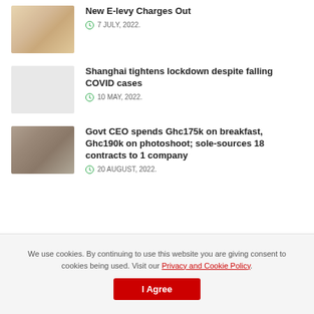[Figure (photo): Thumbnail image for New E-levy Charges Out article, warm tones]
New E-levy Charges Out
7 JULY, 2022.
[Figure (photo): Blank/light gray thumbnail for Shanghai lockdown article]
Shanghai tightens lockdown despite falling COVID cases
10 MAY, 2022.
[Figure (photo): Thumbnail showing two people, grayscale tones, for Govt CEO article]
Govt CEO spends Ghc175k on breakfast, Ghc190k on photoshoot; sole-sources 18 contracts to 1 company
20 AUGUST, 2022.
We use cookies. By continuing to use this website you are giving consent to cookies being used. Visit our Privacy and Cookie Policy.